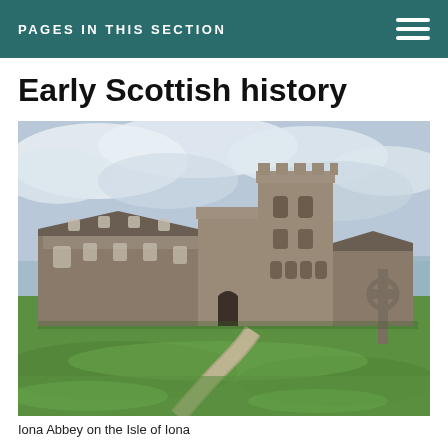PAGES IN THIS SECTION
Early Scottish history
[Figure (photo): Photograph of Iona Abbey on the Isle of Iona, showing a large stone medieval abbey complex with a Celtic cross in the foreground on a green grassy lawn, with a cloudy sky and water visible in the background.]
Iona Abbey on the Isle of Iona